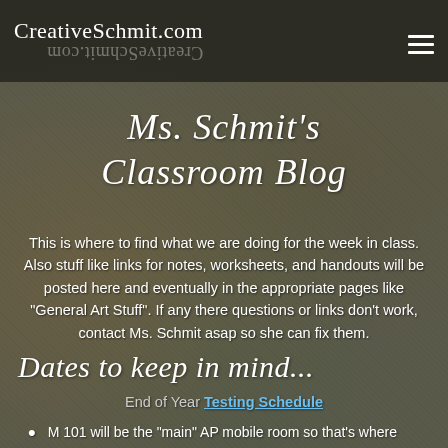CreativeSchmit.com
Ms. Schmit's Classroom Blog
This is where to find what we are doing for the week in class. Also stuff like links for notes, worksheets, and handouts will be posted here and eventually in the appropriate pages like "General Art Stuff". If any there questions or links don't work, contact Ms. Schmit asap so she can fix them.
Dates to keep in mind...
End of Year Testing Schedule
M 101 will be the "main" AP mobile room so that's where